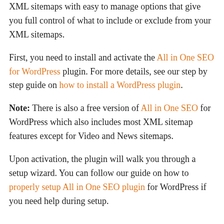XML sitemaps with easy to manage options that give you full control of what to include or exclude from your XML sitemaps.
First, you need to install and activate the All in One SEO for WordPress plugin. For more details, see our step by step guide on how to install a WordPress plugin.
Note: There is also a free version of All in One SEO for WordPress which also includes most XML sitemap features except for Video and News sitemaps.
Upon activation, the plugin will walk you through a setup wizard. You can follow our guide on how to properly setup All in One SEO plugin for WordPress if you need help during setup.